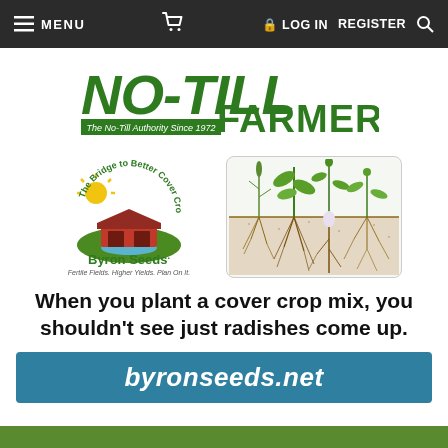MENU  [cart]  LOG IN  REGISTER  [search]
[Figure (logo): No-Till Farmer logo — green bold text 'NO-TILL FARMER' with tagline 'The No-Till Authority Since 1972']
[Figure (logo): Byron Seeds logo — circular barn illustration with text 'The Bridge to Better Cover Crops', 'Byron Seeds.', 'Fertile Fields. Higher Yields. Plan On It.']
[Figure (illustration): Diagram showing various cover crop plants with root systems growing in soil cross-section]
When you plant a cover crop mix, you shouldn't see just radishes come up.
byronseeds.net